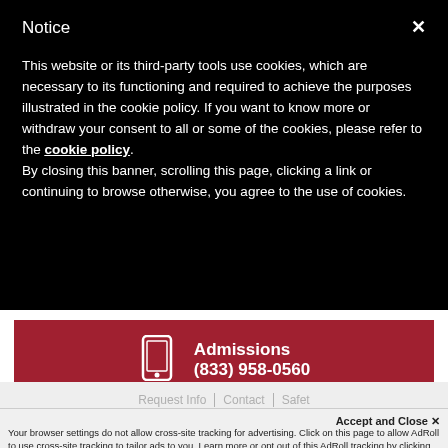Notice
This website or its third-party tools use cookies, which are necessary to its functioning and required to achieve the purposes illustrated in the cookie policy. If you want to know more or withdraw your consent to all or some of the cookies, please refer to the cookie policy.
By closing this banner, scrolling this page, clicking a link or continuing to browse otherwise, you agree to the use of cookies.
Admissions
(833) 958-0560
Request Info | Contact | Safety
Accept and Close ✕
Your browser settings do not allow cross-site tracking for advertising. Click on this page to allow AdRoll to use cross-site tracking to tailor ads to you. Learn more or opt out of this AdRoll tracking by clicking here. This message only appears once.